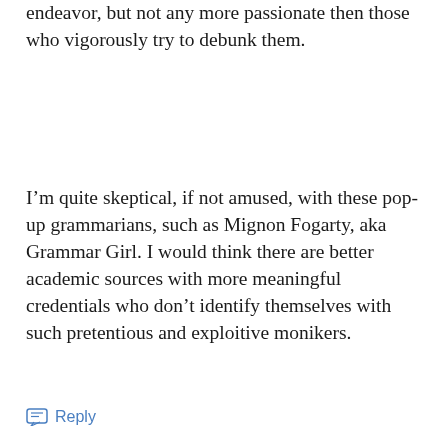endeavor, but not any more passionate then those who vigorously try to debunk them.
I'm quite skeptical, if not amused, with these pop-up grammarians, such as Mignon Fogarty, aka Grammar Girl. I would think there are better academic sources with more meaningful credentials who don't identify themselves with such pretentious and exploitive monikers.
Reply